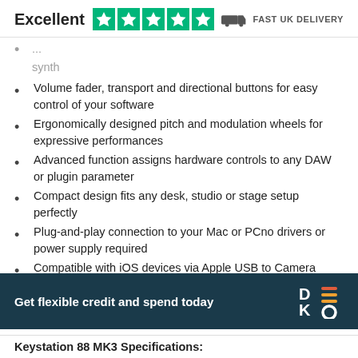Excellent ★★★★★   FAST UK DELIVERY
synth
Volume fader, transport and directional buttons for easy control of your software
Ergonomically designed pitch and modulation wheels for expressive performances
Advanced function assigns hardware controls to any DAW or plugin parameter
Compact design fits any desk, studio or stage setup perfectly
Plug-and-play connection to your Mac or PCno drivers or power supply required
Compatible with iOS devices via Apple USB to Camera Adapter (sold separately)
Octave up and down buttons; Sustain pedal input; Expression pedal input
Includes Ableton Live Lite and MPC Beats
Get flexible credit and spend today
Keystation 88 MK3 Specifications: